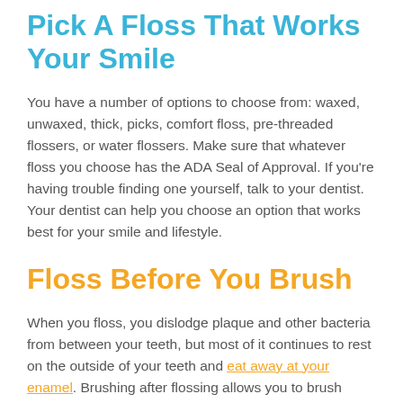Pick A Floss That Works Your Smile
You have a number of options to choose from: waxed, unwaxed, thick, picks, comfort floss, pre-threaded flossers, or water flossers. Make sure that whatever floss you choose has the ADA Seal of Approval. If you're having trouble finding one yourself, talk to your dentist. Your dentist can help you choose an option that works best for your smile and lifestyle.
Floss Before You Brush
When you floss, you dislodge plaque and other bacteria from between your teeth, but most of it continues to rest on the outside of your teeth and eat away at your enamel. Brushing after flossing allows you to brush away those particles, providing you with a more thorough cleaning